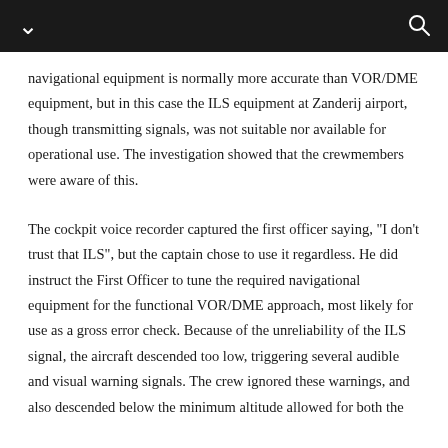navigational equipment is normally more accurate than VOR/DME equipment, but in this case the ILS equipment at Zanderij airport, though transmitting signals, was not suitable nor available for operational use. The investigation showed that the crewmembers were aware of this.
The cockpit voice recorder captured the first officer saying, "I don't trust that ILS", but the captain chose to use it regardless. He did instruct the First Officer to tune the required navigational equipment for the functional VOR/DME approach, most likely for use as a gross error check. Because of the unreliability of the ILS signal, the aircraft descended too low, triggering several audible and visual warning signals. The crew ignored these warnings, and also descended below the minimum altitude allowed for both the